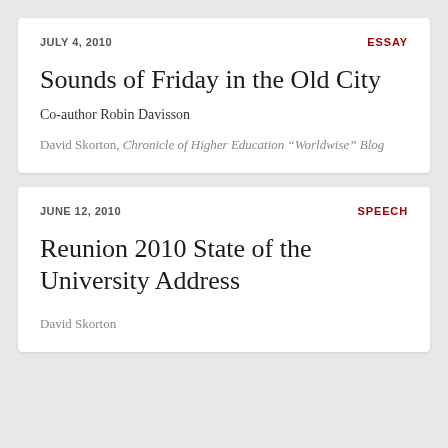JULY 4, 2010
ESSAY
Sounds of Friday in the Old City
Co-author Robin Davisson
David Skorton, Chronicle of Higher Education "Worldwise" Blog
JUNE 12, 2010
SPEECH
Reunion 2010 State of the University Address
David Skorton